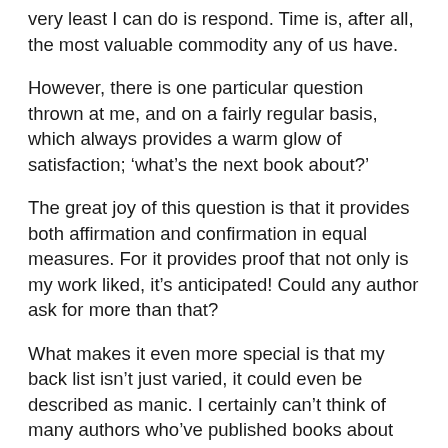very least I can do is respond. Time is, after all, the most valuable commodity any of us have.
However, there is one particular question thrown at me, and on a fairly regular basis, which always provides a warm glow of satisfaction; ‘what’s the next book about?’
The great joy of this question is that it provides both affirmation and confirmation in equal measures. For it provides proof that not only is my work liked, it’s anticipated! Could any author ask for more than that?
What makes it even more special is that my back list isn’t just varied, it could even be described as manic. I certainly can’t think of many authors who’ve published books about subjects as diverse as racism in football and farting although I’m sure there is much a decent psychiatrist could make of that!!
Yet as many people have told me, the eclectic nature of my